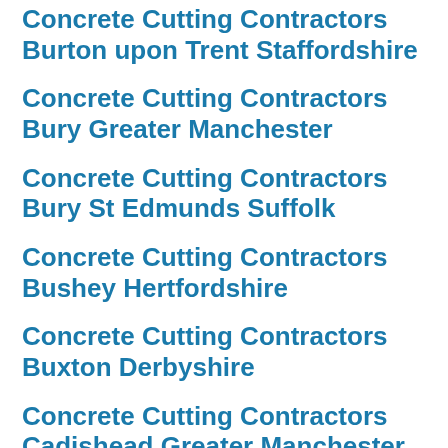Concrete Cutting Contractors Burton upon Trent Staffordshire
Concrete Cutting Contractors Bury Greater Manchester
Concrete Cutting Contractors Bury St Edmunds Suffolk
Concrete Cutting Contractors Bushey Hertfordshire
Concrete Cutting Contractors Buxton Derbyshire
Concrete Cutting Contractors Cadishead Greater Manchester
Concrete Cutting Contractors Caistor Lincolnshire